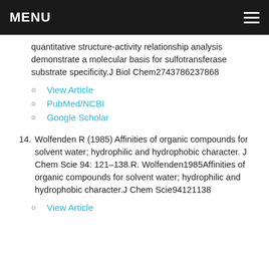MENU
quantitative structure-activity relationship analysis demonstrate a molecular basis for sulfotransferase substrate specificity.J Biol Chem2743786237868
View Article
PubMed/NCBI
Google Scholar
14. Wolfenden R (1985) Affinities of organic compounds for solvent water; hydrophilic and hydrophobic character. J Chem Scie 94: 121–138.R. Wolfenden1985Affinities of organic compounds for solvent water; hydrophilic and hydrophobic character.J Chem Scie94121138
View Article